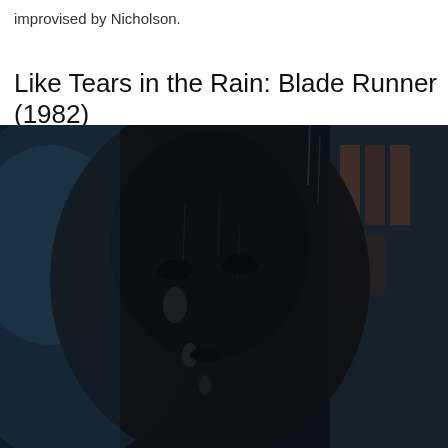improvised by Nicholson.
Like Tears in the Rain: Blade Runner (1982)
[Figure (photo): Close-up dark cinematic still from Blade Runner (1982) showing a figure's face in the rain, wet skin glistening, with a blurred blue and brown background suggesting a rainy dystopian cityscape.]